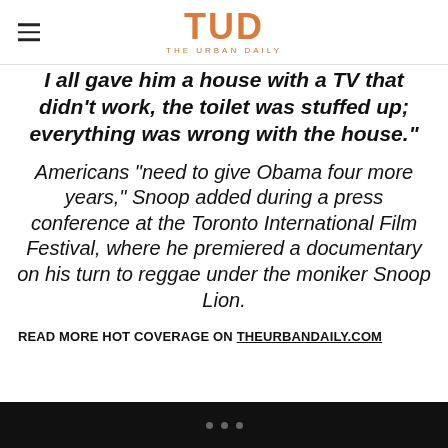TUD — THE URBAN DAILY
“I all gave him a house with a TV that didn’t work, the toilet was stuffed up; everything was wrong with the house.”
Americans “need to give Obama four more years,” Snoop added during a press conference at the Toronto International Film Festival, where he premiered a documentary on his turn to reggae under the moniker Snoop Lion.
READ MORE HOT COVERAGE ON THEURBANDAILY.COM